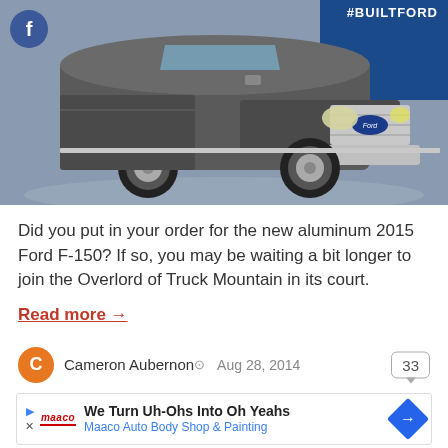[Figure (photo): Gray Ford F-150 pickup truck at an auto show, with #BUILTFORD hashtag visible in top right and Facebook icon in top left]
Did you put in your order for the new aluminum 2015 Ford F-150? If so, you may be waiting a bit longer to join the Overlord of Truck Mountain in its court.
Read more →
Cameron Aubernon  Aug 28, 2014  33
We Turn Uh-Ohs Into Oh Yeahs Maaco Auto Body Shop & Painting